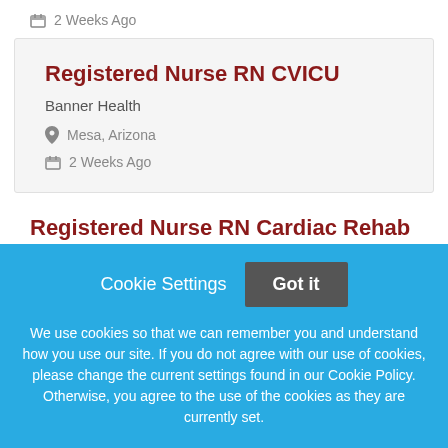2 Weeks Ago
Registered Nurse RN CVICU
Banner Health
Mesa, Arizona
2 Weeks Ago
Registered Nurse RN Cardiac Rehab
Banner Health
Cookie Settings  Got it
We use cookies so that we can remember you and understand how you use our site. If you do not agree with our use of cookies, please change the current settings found in our Cookie Policy. Otherwise, you agree to the use of the cookies as they are currently set.